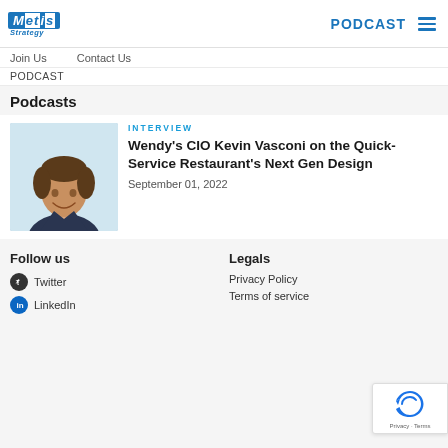Metis Strategy | PODCAST
Join Us   Contact Us
PODCAST
Podcasts
[Figure (photo): Headshot of Kevin Vasconi, smiling man in dark suit jacket]
INTERVIEW
Wendy’s CIO Kevin Vasconi on the Quick-Service Restaurant’s Next Gen Design
September 01, 2022
Follow us
Legals
Twitter
LinkedIn
Privacy Policy
Terms of service